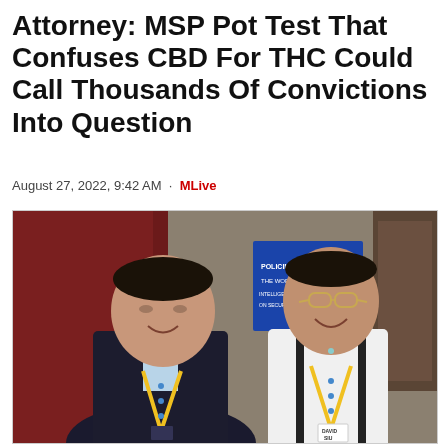Attorney: MSP Pot Test That Confuses CBD For THC Could Call Thousands Of Convictions Into Question
August 27, 2022, 9:42 AM · MLive
[Figure (photo): Two men posing together indoors at a conference. The man on the left wears a dark suit jacket with a yellow lanyard. The man on the right wears a white polo shirt with black suspenders and a yellow lanyard with a badge reading 'DAVID SIU'. There is a blue banner in the background.]